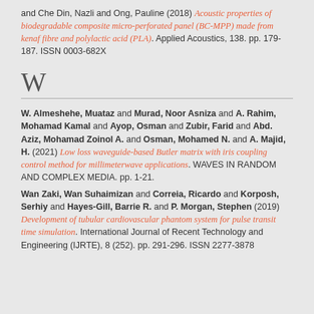and Che Din, Nazli and Ong, Pauline (2018) Acoustic properties of biodegradable composite micro-perforated panel (BC-MPP) made from kenaf fibre and polylactic acid (PLA). Applied Acoustics, 138. pp. 179-187. ISSN 0003-682X
W
W. Almeshehe, Muataz and Murad, Noor Asniza and A. Rahim, Mohamad Kamal and Ayop, Osman and Zubir, Farid and Abd. Aziz, Mohamad Zoinol A. and Osman, Mohamed N. and A. Majid, H. (2021) Low loss waveguide-based Butler matrix with iris coupling control method for millimeterwave applications. WAVES IN RANDOM AND COMPLEX MEDIA. pp. 1-21.
Wan Zaki, Wan Suhaimizan and Correia, Ricardo and Korposh, Serhiy and Hayes-Gill, Barrie R. and P. Morgan, Stephen (2019) Development of tubular cardiovascular phantom system for pulse transit time simulation. International Journal of Recent Technology and Engineering (IJRTE), 8 (252). pp. 291-296. ISSN 2277-3878